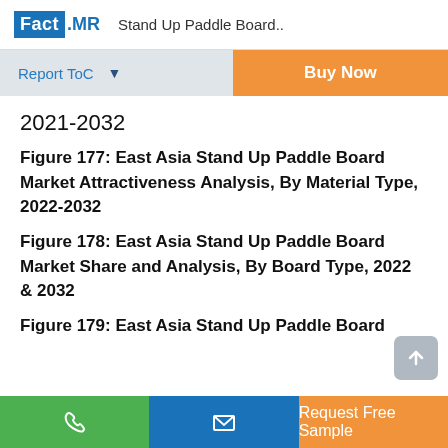Fact.MR  Stand Up Paddle Board..
Report ToC  ▼   Buy Now
2021-2032
Figure 177: East Asia Stand Up Paddle Board Market Attractiveness Analysis, By Material Type, 2022-2032
Figure 178: East Asia Stand Up Paddle Board Market Share and Analysis, By Board Type, 2022 & 2032
Figure 179: East Asia Stand Up Paddle Board
Request Free Sample